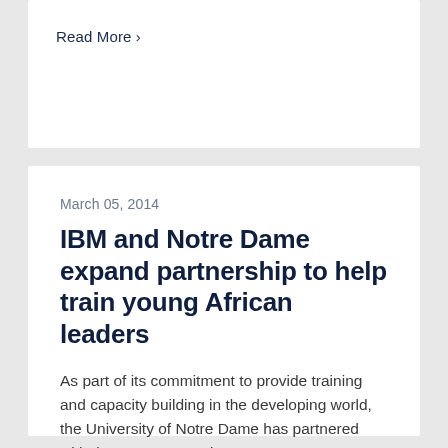Read More ›
March 05, 2014
IBM and Notre Dame expand partnership to help train young African leaders
As part of its commitment to provide training and capacity building in the developing world, the University of Notre Dame has partnered with the IBM Corporation...
Read More ›